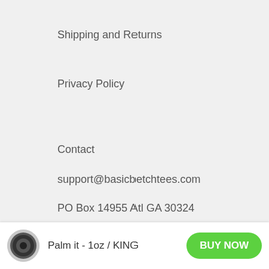Shipping and Returns
Privacy Policy
Contact
support@basicbetchtees.com
PO Box 14955 Atl GA 30324
My Account
Account
Palm it - 1oz / KING